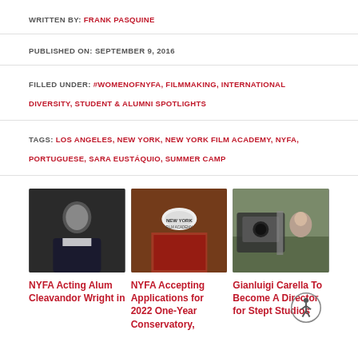WRITTEN BY: FRANK PASQUINE
PUBLISHED ON: SEPTEMBER 9, 2016
FILLED UNDER: #WOMENOFNYFA, FILMMAKING, INTERNATIONAL DIVERSITY, STUDENT & ALUMNI SPOTLIGHTS
TAGS: LOS ANGELES, NEW YORK, NEW YORK FILM ACADEMY, NYFA, PORTUGUESE, SARA EUSTÁQUIO, SUMMER CAMP
[Figure (photo): Portrait of a man in a dark suit against a dark background]
[Figure (photo): Person wearing a New York Film Academy cap and patterned clothing]
[Figure (photo): Film crew operating a camera outdoors]
NYFA Acting Alum Cleavandor Wright in
NYFA Accepting Applications for 2022 One-Year Conservatory,
Gianluigi Carella To Become A Director for Stept Studios